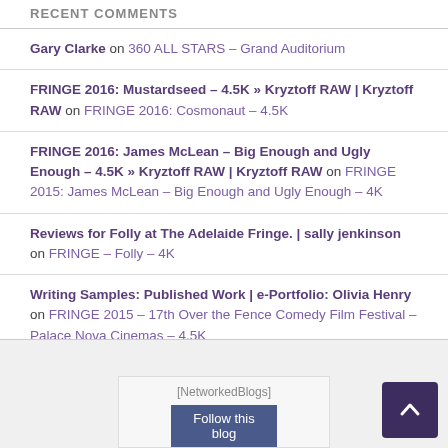RECENT COMMENTS
Gary Clarke on 360 ALL STARS – Grand Auditorium
FRINGE 2016: Mustardseed – 4.5K » Kryztoff RAW | Kryztoff RAW on FRINGE 2016: Cosmonaut – 4.5K
FRINGE 2016: James McLean – Big Enough and Ugly Enough – 4.5K » Kryztoff RAW | Kryztoff RAW on FRINGE 2015: James McLean – Big Enough and Ugly Enough – 4K
Reviews for Folly at The Adelaide Fringe. | sally jenkinson on FRINGE – Folly – 4K
Writing Samples: Published Work | e-Portfolio: Olivia Henry on FRINGE 2015 – 17th Over the Fence Comedy Film Festival – Palace Nova Cinemas – 4.5K
[Figure (other): NetworkedBlogs widget with Follow this blog button]